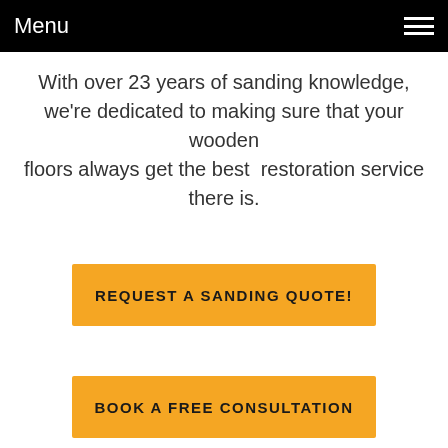Menu
With over 23 years of sanding knowledge, we're dedicated to making sure that your wooden floors always get the best  restoration service there is.
REQUEST A SANDING QUOTE!
BOOK A FREE CONSULTATION